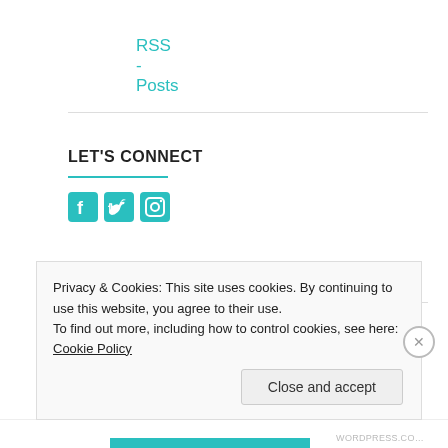RSS - Posts
LET'S CONNECT
[Figure (illustration): Three social media icons: Facebook, Twitter, Instagram in teal/green color]
MY TUMBLR – A DRUID'S WAY
[Figure (illustration): Broken image placeholder followed by teal link text: link to my tumblr site - a]
Privacy & Cookies: This site uses cookies. By continuing to use this website, you agree to their use.
To find out more, including how to control cookies, see here: Cookie Policy
Close and accept